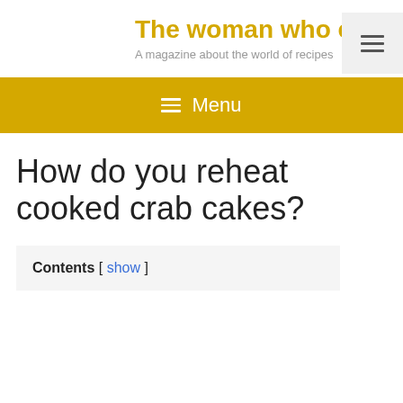The woman who cook
A magazine about the world of recipes
≡ Menu
How do you reheat cooked crab cakes?
Contents [ show ]